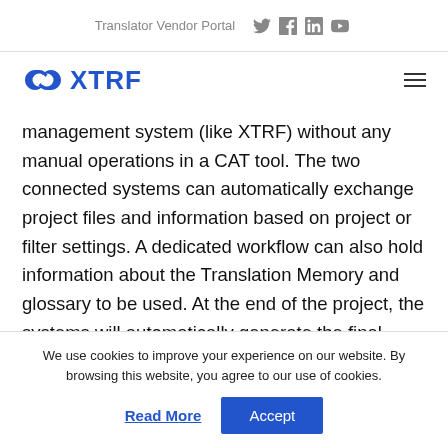Translator Vendor Portal
[Figure (logo): XTRF logo with infinity symbol in blue and the text XTRF in blue bold letters]
management system (like XTRF) without any manual operations in a CAT tool. The two connected systems can automatically exchange project files and information based on project or filter settings. A dedicated workflow can also hold information about the Translation Memory and glossary to be used. At the end of the project, the systems will automatically generate the final output files
We use cookies to improve your experience on our website. By browsing this website, you agree to our use of cookies.
Read More   Accept